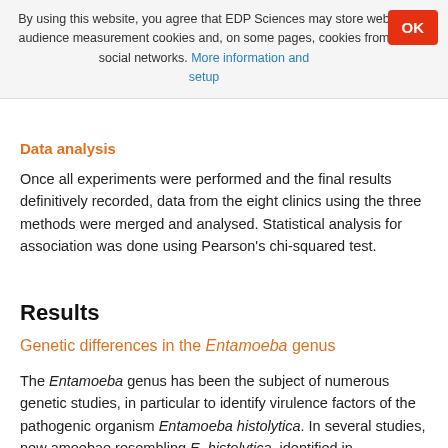By using this website, you agree that EDP Sciences may store web audience measurement cookies and, on some pages, cookies from social networks. More information and setup
Data analysis
Once all experiments were performed and the final results definitively recorded, data from the eight clinics using the three methods were merged and analysed. Statistical analysis for association was done using Pearson's chi-squared test.
Results
Genetic differences in the Entamoeba genus
The Entamoeba genus has been the subject of numerous genetic studies, in particular to identify virulence factors of the pathogenic organism Entamoeba histolytica. In several studies, new amoebae resembling E. histolytica, identified in